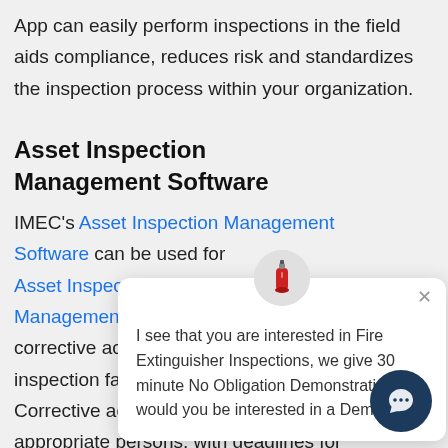App can easily perform inspections in the field aids compliance, reduces risk and standardizes the inspection process within your organization.
Asset Inspection Management Software
IMEC's Asset Inspection Management Software can be used for Asset Inspection. Asset Inspection Management Software corrective actions inspection failures for inspections. Corrective actions are allocated to the appropriate persons, with deadlines for
[Figure (screenshot): Chat popup overlay with avatar icon of a fire extinguisher, close button (x), and message: 'I see that you are interested in Fire Extinguisher Inspections, we give 30 minute No Obligation Demonstrations, would you be interested in a Demo?' A dark navy circular chat button is visible in the bottom-right corner.]